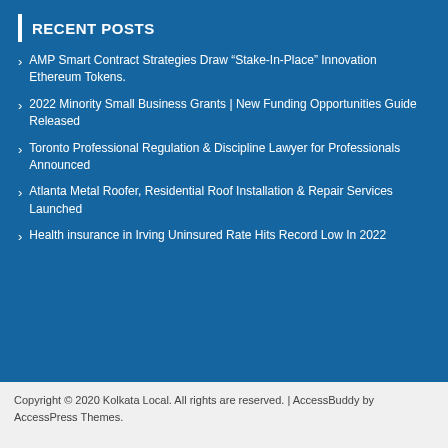RECENT POSTS
AMP Smart Contract Strategies Draw “Stake-In-Place” Innovation Ethereum Tokens.
2022 Minority Small Business Grants | New Funding Opportunities Guide Released
Toronto Professional Regulation & Discipline Lawyer for Professionals Announced
Atlanta Metal Roofer, Residential Roof Installation & Repair Services Launched
Health insurance in Irving Uninsured Rate Hits Record Low In 2022
Copyright © 2020 Kolkata Local. All rights are reserved. | AccessBuddy by AccessPress Themes.